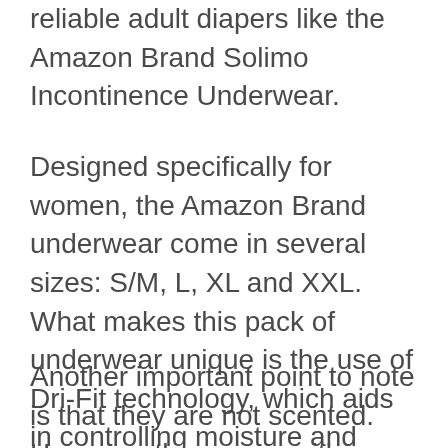reliable adult diapers like the Amazon Brand Solimo Incontinence Underwear.
Designed specifically for women, the Amazon Brand underwear come in several sizes: S/M, L, XL and XXL. What makes this pack of underwear unique is the use of Dri-Fit technology, which aids in controlling moisture and temperature. This ensures that your skin stays dry throughout.
Another important point to note is that they are not scented. However, they come with an odor control system, which prevents odors from